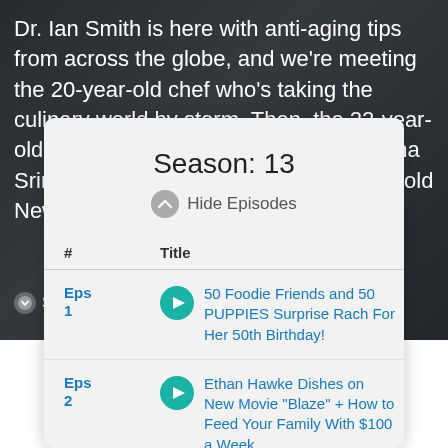Dr. Ian Smith is here with anti-aging tips from across the globe, and we're meeting the 20-year-old chef who's taking the culinary world by storm. Then, the 22-year-old host of "Brainchild" on Netflix, Sahana Srinivasan stops by — plus, an 81-year-old New
Show More
Season: 13
Hide Episodes
| # | Title |
| --- | --- |
| Eps 1 | 50 Foodie Friends and 50 PUPPIES Surprise Rach For Her 50th Birthday! |
| Eps 2 | Ethan Hawke Dishes on New Movie "Blaze" + How to Feed Your Family With $100 a Week |
| Eps | William Shatner On The Role He |